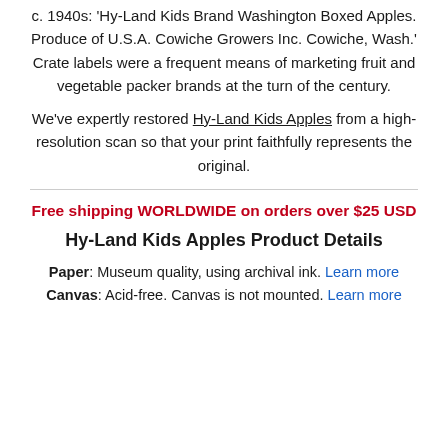c. 1940s: 'Hy-Land Kids Brand Washington Boxed Apples. Produce of U.S.A. Cowiche Growers Inc. Cowiche, Wash.' Crate labels were a frequent means of marketing fruit and vegetable packer brands at the turn of the century.
We've expertly restored Hy-Land Kids Apples from a high-resolution scan so that your print faithfully represents the original.
Free shipping WORLDWIDE on orders over $25 USD
Hy-Land Kids Apples Product Details
Paper: Museum quality, using archival ink. Learn more
Canvas: Acid-free. Canvas is not mounted. Learn more